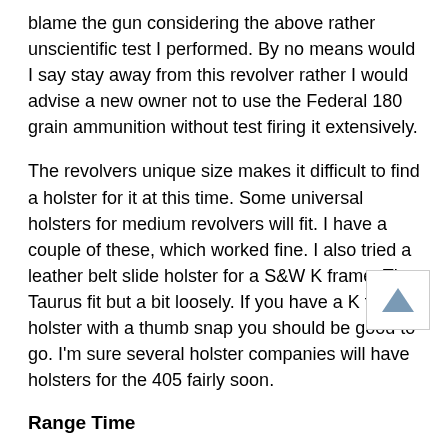blame the gun considering the above rather unscientific test I performed. By no means would I say stay away from this revolver rather I would advise a new owner not to use the Federal 180 grain ammunition without test firing it extensively.
The revolvers unique size makes it difficult to find a holster for it at this time. Some universal holsters for medium revolvers will fit. I have a couple of these, which worked fine. I also tried a leather belt slide holster for a S&W K frame. The Taurus fit but a bit loosely. If you have a K frame holster with a thumb snap you should be good to go. I'm sure several holster companies will have holsters for the 405 fairly soon.
[Figure (other): Scroll-to-top button with upward-pointing triangle arrow]
Range Time
I've covered the ammunition I used for the range session so there's no need to be redundant.